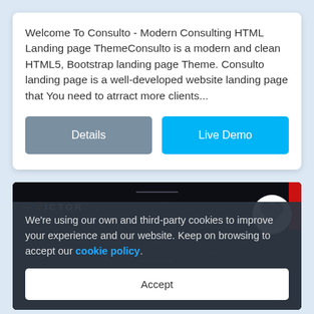Welcome To Consulto - Modern Consulting HTML Landing page ThemeConsulto is a modern and clean HTML5, Bootstrap landing page Theme. Consulto landing page is a well-developed website landing page that You need to atrract more clients...
[Figure (screenshot): Screenshot of 'VICTOR' website with dark space-themed background, heart/favorite button in top right, red accent bar, and a cookie consent overlay at the bottom reading 'We're using our own and third-party cookies to improve your experience and our website. Keep on browsing to accept our cookie policy.' with an Accept button.]